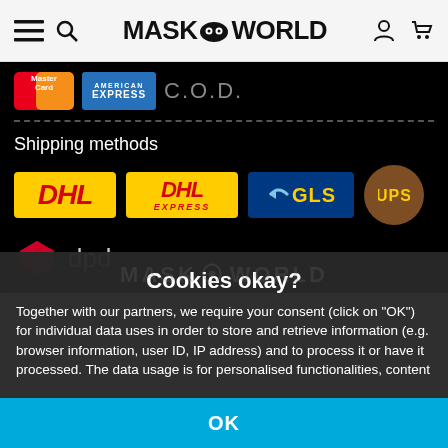MASK WORLD - navigation header with hamburger menu, search icon, logo, user icon, cart icon
[Figure (logo): MasterCard logo, American Express logo, C.O.D. text - payment methods]
Shipping methods
[Figure (logo): DHL, DHL Express, GLS, UPS, DPD shipping carrier logos]
Cookies okay?
Together with our partners, we require your consent (click on "OK") for individual data uses in order to store and retrieve information (e.g. browser information, user ID, IP address) and to process it or have it processed. The data usage is for personalised functionalities, content and ads
OK